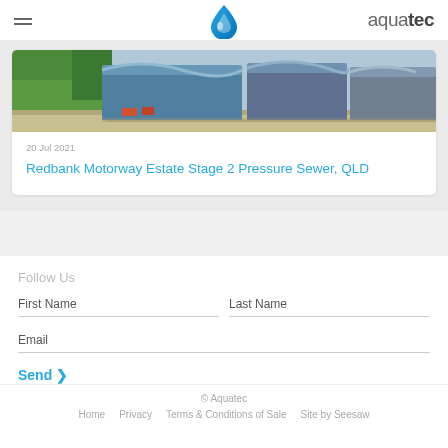aquatec
[Figure (photo): Aerial view of industrial warehouse/estate buildings with blue roofs, green trees on the left, and a road in the background]
20 Jul 2021
Redbank Motorway Estate Stage 2 Pressure Sewer, QLD
Follow Us
First Name
Last Name
Email
Send >
© Aquatec  Home  Privacy  Terms & Conditions of Sale  Site by Seesaw